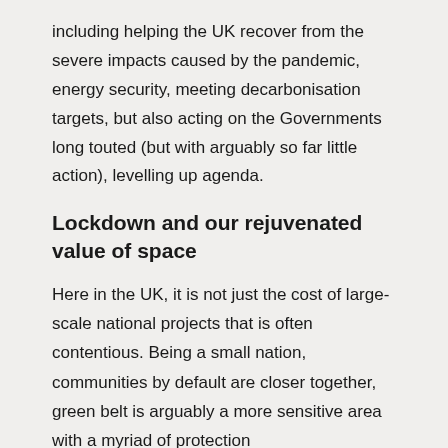including helping the UK recover from the severe impacts caused by the pandemic, energy security, meeting decarbonisation targets, but also acting on the Governments long touted (but with arguably so far little action), levelling up agenda.
Lockdown and our rejuvenated value of space
Here in the UK, it is not just the cost of large-scale national projects that is often contentious. Being a small nation, communities by default are closer together, green belt is arguably a more sensitive area with a myriad of protection